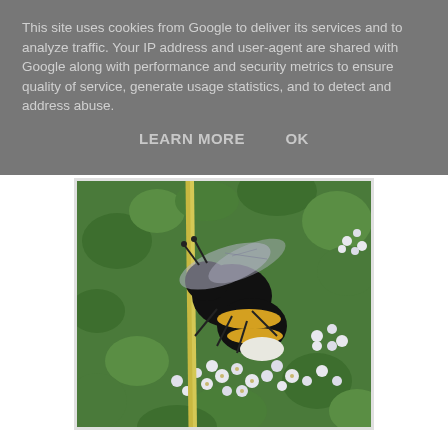This site uses cookies from Google to deliver its services and to analyze traffic. Your IP address and user-agent are shared with Google along with performance and security metrics to ensure quality of service, generate usage statistics, and to detect and address abuse.
LEARN MORE   OK
[Figure (photo): Close-up photograph of a bumblebee (black and yellow) on small white flowers with green foliage background and a yellow plant stem]